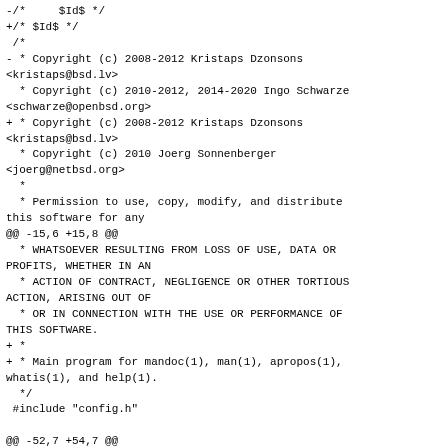-/*     $Id$ */
+/* $Id$ */
 /*
- * Copyright (c) 2008-2012 Kristaps Dzonsons <kristaps@bsd.lv>
  * Copyright (c) 2010-2012, 2014-2020 Ingo Schwarze <schwarze@openbsd.org>
+ * Copyright (c) 2008-2012 Kristaps Dzonsons <kristaps@bsd.lv>
  * Copyright (c) 2010 Joerg Sonnenberger <joerg@netbsd.org>
  *
  * Permission to use, copy, modify, and distribute this software for any
@@ -15,6 +15,8 @@
  * WHATSOEVER RESULTING FROM LOSS OF USE, DATA OR PROFITS, WHETHER IN AN
  * ACTION OF CONTRACT, NEGLIGENCE OR OTHER TORTIOUS ACTION, ARISING OUT OF
  * OR IN CONNECTION WITH THE USE OR PERFORMANCE OF THIS SOFTWARE.
+ *
+ * Main program for mandoc(1), man(1), apropos(1), whatis(1), and help(1).
  */
 #include "config.h"

@@ -52,7 +54,7 @@
 #include "mdoc.h"
 #include "man.h"
 #include "mandoc_md.h"